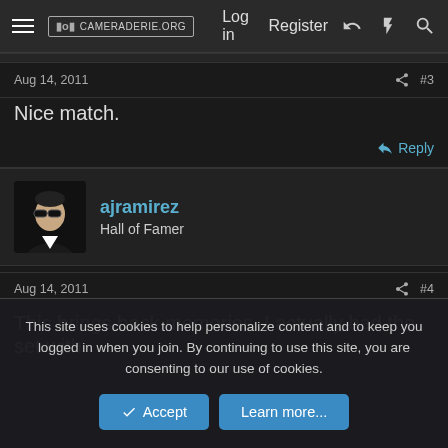CAMERADERIE.ORG  Log in  Register
Aug 14, 2011  #3
Nice match.
Reply
ajramirez
Hall of Famer
Aug 14, 2011  #4
This brings back memories. I actually had the set with
This site uses cookies to help personalize content and to keep you logged in when you join. By continuing to use this site, you are consenting to our use of cookies.
Accept  Learn more...